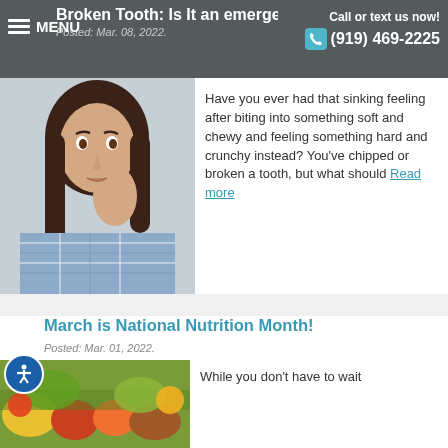Broken Tooth: Is It an emergency?
Posted: Mar. 08, 2022.
Call or text us now! (919) 469-2225
[Figure (photo): Woman holding her cheek in pain, wearing a plaid shirt, worried expression]
Have you ever had that sinking feeling after biting into something soft and chewy and feeling something hard and crunchy instead? You've chipped or broken a tooth, but what should Read more
March is National Nutrition Month!
Posted: Mar. 01, 2022.
[Figure (photo): Colorful fruits and vegetables on a table]
While you don't have to wait